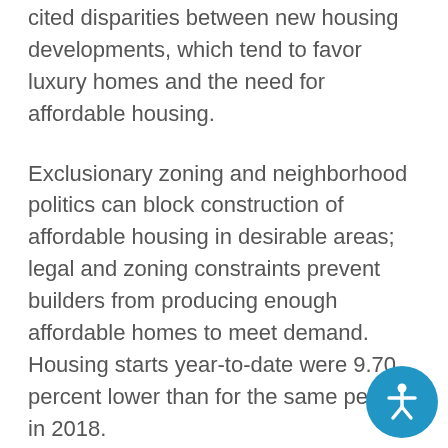cited disparities between new housing developments, which tend to favor luxury homes and the need for affordable housing.
Exclusionary zoning and neighborhood politics can block construction of affordable housing in desirable areas; legal and zoning constraints prevent builders from producing enough affordable homes to meet demand. Housing starts year-to-date were 9.70 percent lower than for the same period in 2018.
Fewer building permits were issued in March than in February. 1.269 million permits were issued on a seasonally adjusted annual basis as compared to expectations of 1.300 million permits issued and February's reading of 1.291 million permits issued.